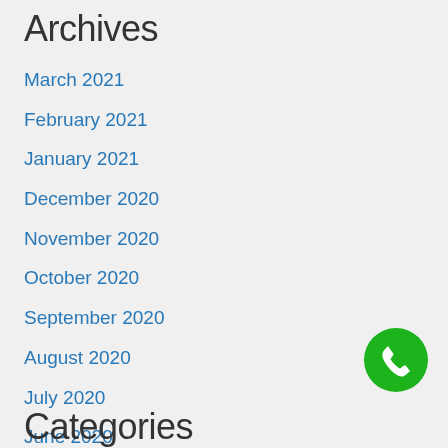Archives
March 2021
February 2021
January 2021
December 2020
November 2020
October 2020
September 2020
August 2020
July 2020
June 2020
May 2020
April 2020
[Figure (illustration): Green circular phone/call button icon in bottom right corner]
Categories